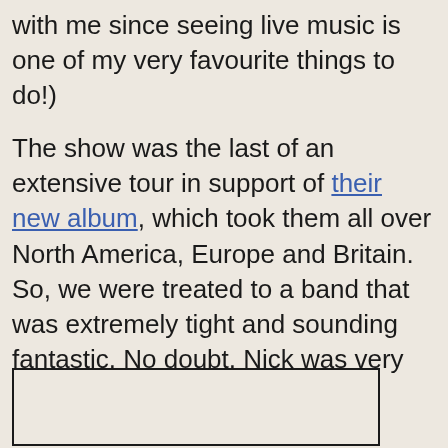with me since seeing live music is one of my very favourite things to do!)
The show was the last of an extensive tour in support of their new album, which took them all over North America, Europe and Britain. So, we were treated to a band that was extremely tight and sounding fantastic. No doubt, Nick was very happy to receive this gift of an excellent experience. And, of course, I was very happy to have joined him.
[Figure (other): Empty bordered box, likely placeholder for an image]